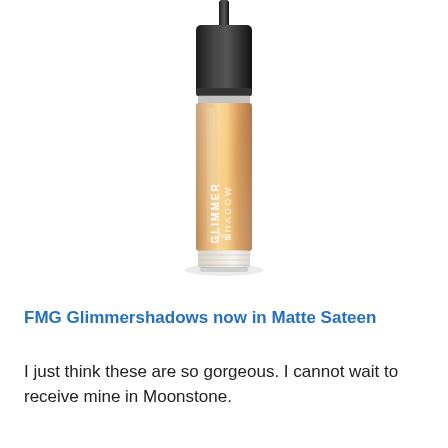[Figure (photo): A product photo of an FMG Glimmershadow liquid eyeshadow tube with a black cap and a rose-gold/bronzed shimmer body with white text reading 'GLIMMERSHADOW' vertically along the tube, and 'fmg' in script near the bottom. The packaging is clear at the base and the overall color of the product inside is warm bronze/copper shimmer.]
FMG Glimmershadows now in Matte Sateen
I just think these are so gorgeous. I cannot wait to receive mine in Moonstone.